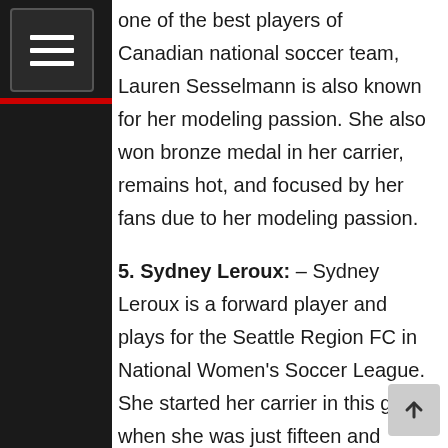one of the best players of Canadian national soccer team, Lauren Sesselmann is also known for her modeling passion. She also won bronze medal in her carrier, remains hot, and focused by her fans due to her modeling passion.
5. Sydney Leroux: – Sydney Leroux is a forward player and plays for the Seattle Region FC in National Women's Soccer League. She started her carrier in this game when she was just fifteen and gained high praise from her fans. In a league's inaugural session, she made her debut and amazed everyone by her performance. Moreover, she is also a model that has appealing and hot personality and is the heartbeat of her fans.